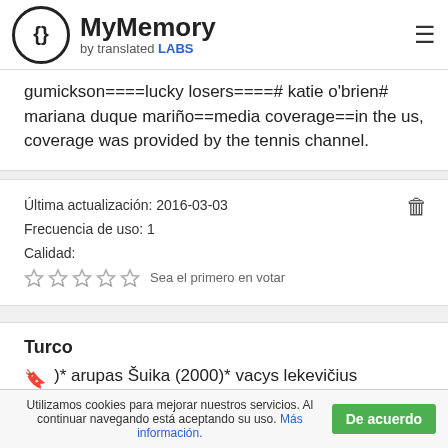MyMemory by translated LABS
gumickson====lucky losers====# katie o'brien# mariana duque mariño==media coverage==in the us, coverage was provided by the tennis channel.
Última actualización: 2016-03-03
Frecuencia de uso: 1
Calidad:
☆☆☆☆☆ Sea el primero en votar
Turco
)* arupas Šuika (2000)* vacys lekevičius
Utilizamos cookies para mejorar nuestros servicios. Al continuar navegando está aceptando su uso. Más información.   De acuerdo